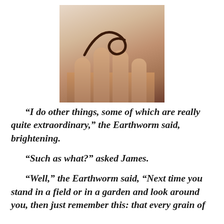[Figure (photo): A close-up photograph of a human hand holding a small earthworm that curves into a loop shape on the palm.]
“I do other things, some of which are really quite extraordinary,” the Earthworm said, brightening.
“Such as what?” asked James.
“Well,” the Earthworm said, “Next time you stand in a field or in a garden and look around you, then just remember this: that every grain of